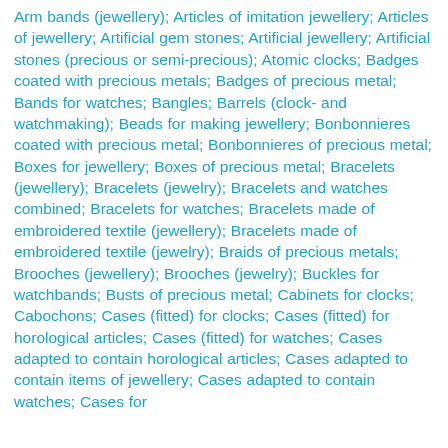Arm bands (jewellery); Articles of imitation jewellery; Articles of jewellery; Artificial gem stones; Artificial jewellery; Artificial stones (precious or semi-precious); Atomic clocks; Badges coated with precious metals; Badges of precious metal; Bands for watches; Bangles; Barrels (clock- and watchmaking); Beads for making jewellery; Bonbonnieres coated with precious metal; Bonbonnieres of precious metal; Boxes for jewellery; Boxes of precious metal; Bracelets (jewellery); Bracelets (jewelry); Bracelets and watches combined; Bracelets for watches; Bracelets made of embroidered textile (jewellery); Bracelets made of embroidered textile (jewelry); Braids of precious metals; Brooches (jewellery); Brooches (jewelry); Buckles for watchbands; Busts of precious metal; Cabinets for clocks; Cabochons; Cases (fitted) for clocks; Cases (fitted) for horological articles; Cases (fitted) for watches; Cases adapted to contain horological articles; Cases adapted to contain items of jewellery; Cases adapted to contain watches; Cases for